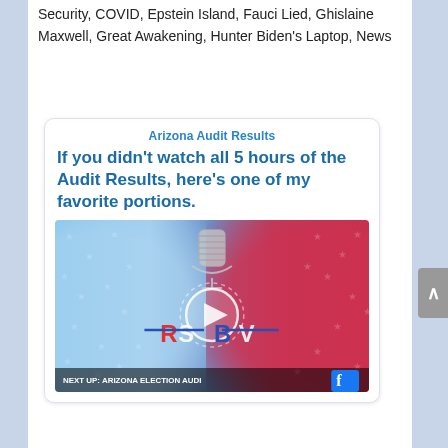Security, COVID, Epstein Island, Fauci Lied, Ghislaine Maxwell, Great Awakening, Hunter Biden's Laptop, News
[Figure (screenshot): Embedded video thumbnail card with RSBV logo on a red-white-blue stars background. Title: 'Arizona Audit Results'. Headline: 'If you didn’t watch all 5 hours of the Audit Results, here’s one of my favorite portions.' Bottom bar text: 'NEXT UP: ARIZONA ELECTION AUDI'. Facebook icon in bottom right.]